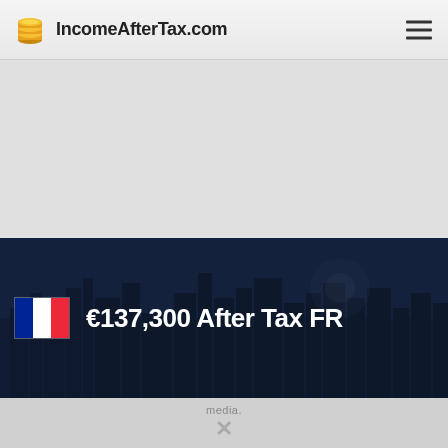IncomeAfterTax.com
[Figure (screenshot): Gray advertisement/banner placeholder area]
€137,300 After Tax FR
[Figure (photo): Dark blue night cityscape/skyline background image with overlay]
media.
X